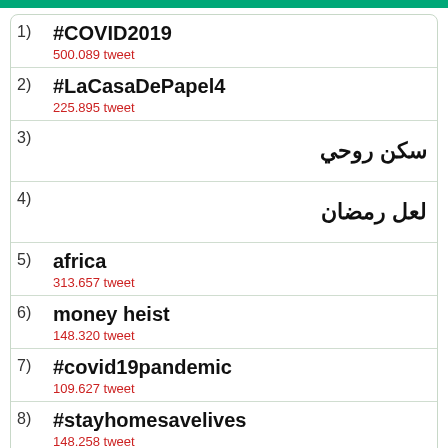1) #COVID2019 — 500.089 tweet
2) #LaCasaDePapel4 — 225.895 tweet
3) سكن روحي
4) لعل رمضان
5) africa — 313.657 tweet
6) money heist — 148.320 tweet
7) #covid19pandemic — 109.627 tweet
8) #stayhomesavelives — 148.258 tweet
9) #كتارا